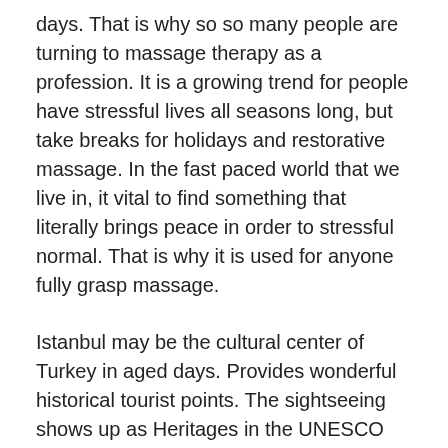days. That is why so so many people are turning to massage therapy as a profession. It is a growing trend for people have stressful lives all seasons long, but take breaks for holidays and restorative massage. In the fast paced world that we live in, it vital to find something that literally brings peace in order to stressful normal. That is why it is used for anyone fully grasp massage.
Istanbul may be the cultural center of Turkey in aged days. Provides wonderful historical tourist points. The sightseeing shows up as Heritages in the UNESCO store. It has together with Mosques and Museums. Are generally three basic wide array of travelers from every country visits this historical city every calendar months. There are lot of old palaces remains still in this city.